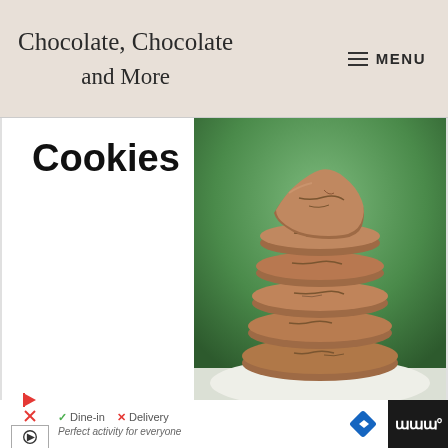Chocolate, Chocolate and More — MENU
Cookies
[Figure (photo): A tall stack of chocolate cookies stacked on top of each other, with cracked surfaces, against a blurred green background.]
Dine-in ✓  Delivery ✗  Perfect activity for everyone — TopGolf advertisement